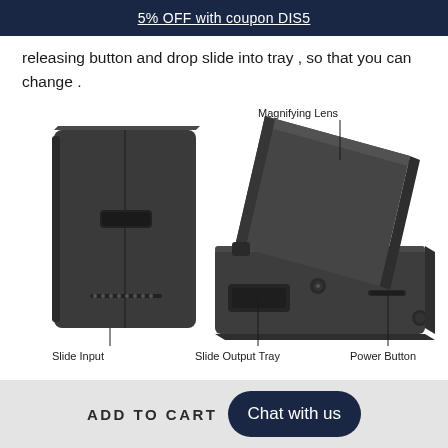5% OFF with coupon DIS5
releasing button and drop slide into tray , so that you can change .
[Figure (engineering-diagram): Product diagram of a slide scanner device showing three labeled components: Slide Input (left, flat rectangular unit), Slide Output Tray (center, base unit with tray), and Power Button (center-right, on the base). A Magnifying Lens label points to the top tilted portion of the device. Lines connect labels to the respective parts.]
ADD TO CART
Chat with us